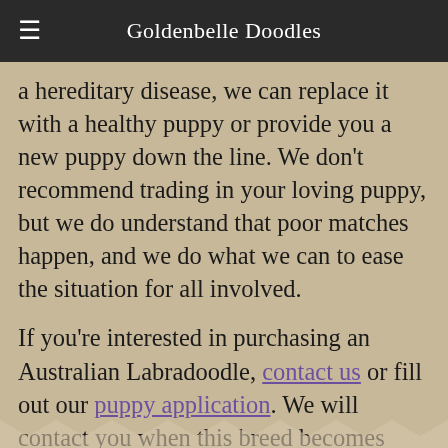Goldenbelle Doodles
a hereditary disease, we can replace it with a healthy puppy or provide you a new puppy down the line. We don't recommend trading in your loving puppy, but we do understand that poor matches happen, and we do what we can to ease the situation for all involved.
If you're interested in purchasing an Australian Labradoodle, contact us or fill out our puppy application. We will contact you when this breed becomes available.